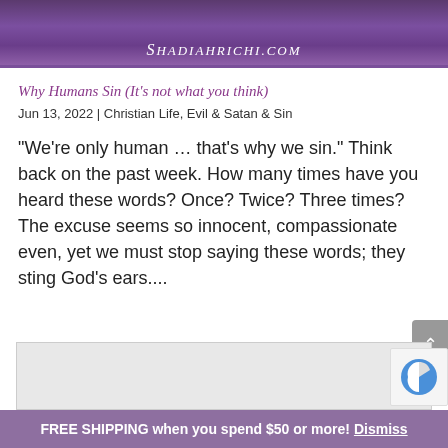[Figure (photo): Purple/violet banner image with SHADIAHRICHI.COM text at the bottom in white italic script]
Why Humans Sin (It's not what you think)
Jun 13, 2022 | Christian Life, Evil & Satan & Sin
“We’re only human … that’s why we sin.” Think back on the past week. How many times have you heard these words? Once? Twice? Three times? The excuse seems so innocent, compassionate even, yet we must stop saying these words; they sting God’s ears....
[Figure (photo): Partial image visible at bottom of page, light gray/silver tones, with reCAPTCHA logo visible at right]
FREE SHIPPING when you spend $50 or more! Dismiss